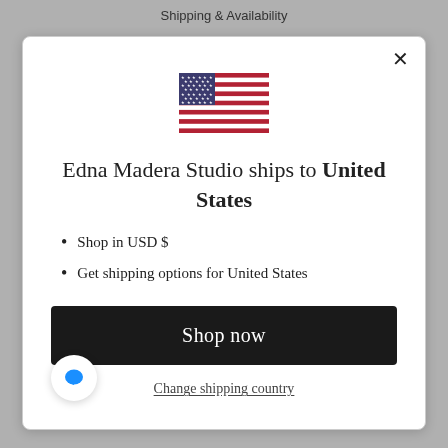Shipping & Availability
[Figure (illustration): US flag emoji illustration]
Edna Madera Studio ships to United States
Shop in USD $
Get shipping options for United States
Shop now
Change shipping country